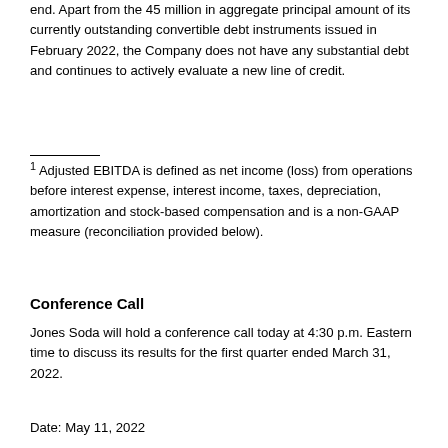end. Apart from the 45 million in aggregate principal amount of its currently outstanding convertible debt instruments issued in February 2022, the Company does not have any substantial debt and continues to actively evaluate a new line of credit.
1 Adjusted EBITDA is defined as net income (loss) from operations before interest expense, interest income, taxes, depreciation, amortization and stock-based compensation and is a non-GAAP measure (reconciliation provided below).
Conference Call
Jones Soda will hold a conference call today at 4:30 p.m. Eastern time to discuss its results for the first quarter ended March 31, 2022.
Date: May 11, 2022